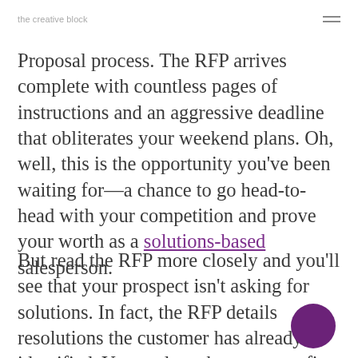the creative block
Proposal process. The RFP arrives complete with countless pages of instructions and an aggressive deadline that obliterates your weekend plans. Oh, well, this is the opportunity you've been waiting for—a chance to go head-to-head with your competition and prove your worth as a solutions-based salesperson.
But read the RFP more closely and you'll see that your prospect isn't asking for solutions. In fact, the RFP details resolutions the customer has already identified. Your only tasks are to confirm you can deliver those solutions and to